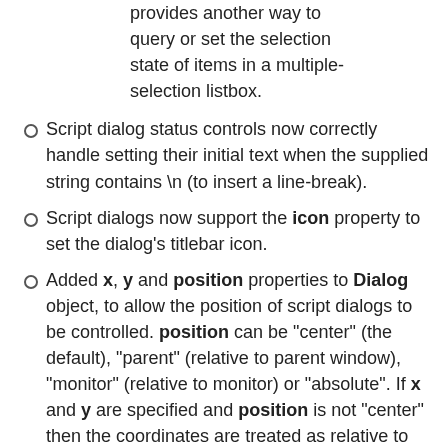provides another way to query or set the selection state of items in a multiple-selection listbox.
Script dialog status controls now correctly handle setting their initial text when the supplied string contains \n (to insert a line-break).
Script dialogs now support the icon property to set the dialog's titlebar icon.
Added x, y and position properties to Dialog object, to allow the position of script dialogs to be controlled. position can be "center" (the default), "parent" (relative to parent window), "monitor" (relative to monitor) or "absolute". If x and y are specified and position is not "center" then the coordinates are treated as relative to